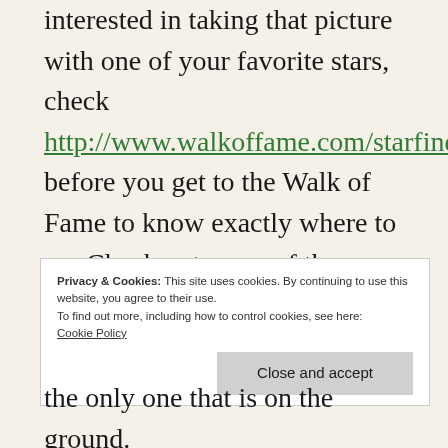interested in taking that picture with one of your favorite stars, check http://www.walkoffame.com/starfinder before you get to the Walk of Fame to know exactly where to go. Check out some of the more unique stars,
Privacy & Cookies: This site uses cookies. By continuing to use this website, you agree to their use.
To find out more, including how to control cookies, see here:
Cookie Policy
Close and accept
the only one that is on the ground.